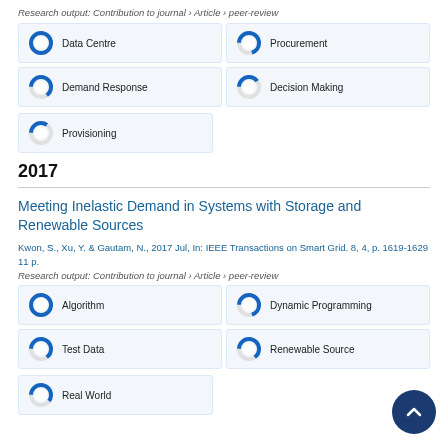Research output: Contribution to journal › Article › peer-review
[Figure (infographic): Keyword badges with donut charts: Data Centre (100%), Procurement (70%), Demand Response (65%), Decision Making (40%), Provisioning (35%)]
2017
Meeting Inelastic Demand in Systems with Storage and Renewable Sources
Kwon, S., Xu, Y. & Gautam, N., 2017 Jul, In: IEEE Transactions on Smart Grid. 8, 4, p. 1619-1629 11 p.
Research output: Contribution to journal › Article › peer-review
[Figure (infographic): Keyword badges with donut charts: Algorithm (100%), Dynamic Programming (70%), Test Data (65%), Renewable Source (65%), Real World (60%)]